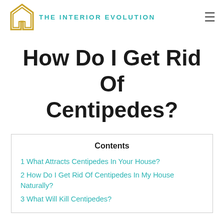THE INTERIOR EVOLUTION
How Do I Get Rid Of Centipedes?
Contents
1 What Attracts Centipedes In Your House?
2 How Do I Get Rid Of Centipedes In My House Naturally?
3 What Will Kill Centipedes?